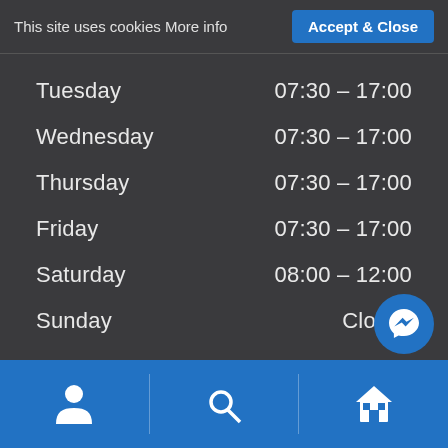This site uses cookies More info
Accept & Close
| Day | Hours |
| --- | --- |
| Tuesday | 07:30 – 17:00 |
| Wednesday | 07:30 – 17:00 |
| Thursday | 07:30 – 17:00 |
| Friday | 07:30 – 17:00 |
| Saturday | 08:00 – 12:00 |
| Sunday | Closed |
Connect with us
[Figure (screenshot): Row of social media icon buttons: email, Facebook, LinkedIn, phone, Twitter, YouTube]
Hi! How can we help you?
Website Development by Webb Dev
[Figure (screenshot): Bottom navigation bar with user, search, and home icons on blue background]